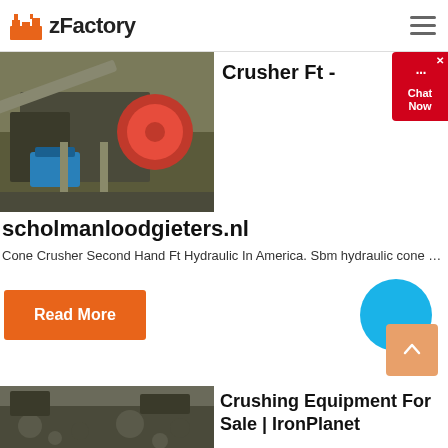zFactory
[Figure (photo): Industrial jaw crusher / cone crusher machine photographed outdoors with blue motor and red wheel visible]
Crusher Ft -
scholmanloodgieters.nl
Cone Crusher Second Hand Ft Hydraulic In America. Sbm hydraulic cone …
Read More
[Figure (photo): Aerial or ground-level view of crushing equipment / quarry site with rock debris]
Crushing Equipment For Sale | IronPlanet